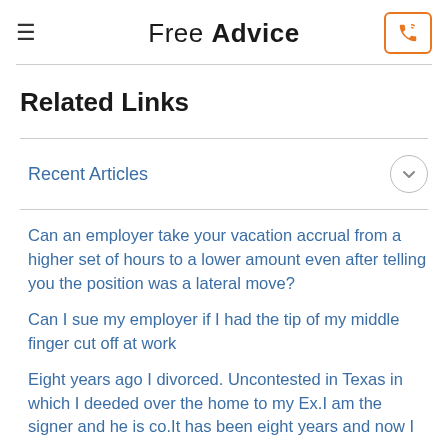Free Advice
Related Links
Recent Articles
Can an employer take your vacation accrual from a higher set of hours to a lower amount even after telling you the position was a lateral move?
Can I sue my employer if I had the tip of my middle finger cut off at work
Eight years ago I divorced. Uncontested in Texas in which I deeded over the home to my Ex.I am the signer and he is co.It has been eight years and now I